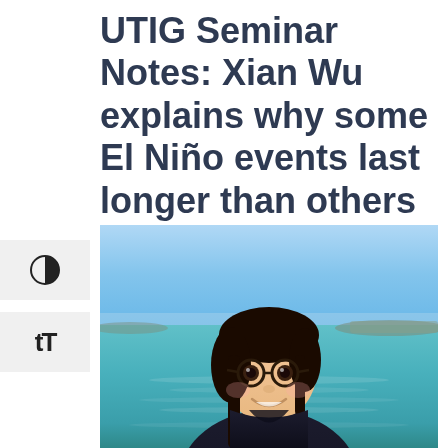UTIG Seminar Notes: Xian Wu explains why some El Niño events last longer than others
[Figure (photo): A young woman with dark hair and round glasses, wearing a black hoodie, smiling outdoors in front of a blue water and sky background (harbour or waterfront scene)]